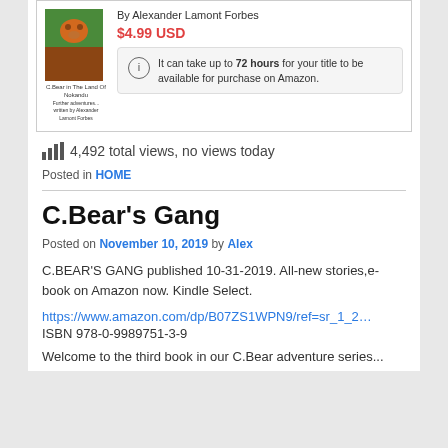[Figure (illustration): Book listing card showing book cover image for 'C.Bear in The Land Of Nokandu' by Alexander Lamont Forbes, priced at $4.99 USD, with an info notice about 72 hours availability on Amazon.]
4,492 total views, no views today
Posted in HOME
C.Bear's Gang
Posted on November 10, 2019 by Alex
C.BEAR'S GANG published 10-31-2019. All-new stories,e-book on Amazon now. Kindle Select.
https://www.amazon.com/dp/B07ZS1WPN9/ref=sr_1_2…
ISBN 978-0-9989751-3-9
Welcome to the third book in our C.Bear adventure series...